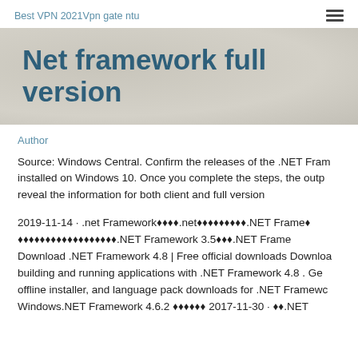Best VPN 2021Vpn gate ntu
Net framework full version
Author
Source: Windows Central. Confirm the releases of the .NET Fram installed on Windows 10. Once you complete the steps, the outp reveal the information for both client and full version
2019-11-14 · .net Framework♦♦♦♦.net♦♦♦♦♦♦♦♦♦.NET Frame♦♦♦♦♦♦♦♦♦♦♦♦♦♦♦♦♦♦.NET Framework 3.5♦♦♦.NET Frame Download .NET Framework 4.8 | Free official downloads Downloa building and running applications with .NET Framework 4.8 . Ge offline installer, and language pack downloads for .NET Framewc Windows.NET Framework 4.6.2 ♦♦♦♦♦♦ 2017-11-30 · ♦♦.NET